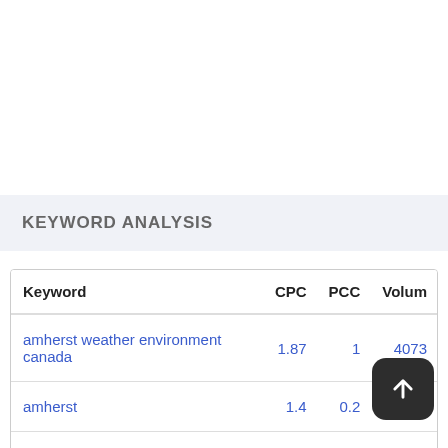KEYWORD ANALYSIS
| Keyword | CPC | PCC | Volum |
| --- | --- | --- | --- |
| amherst weather environment canada | 1.87 | 1 | 4073 |
| amherst | 1.4 | 0.2 | 8161 |
| weather | 1 | 0.9 |  |
| environment | 0.34 | 0.8 | 1482 |